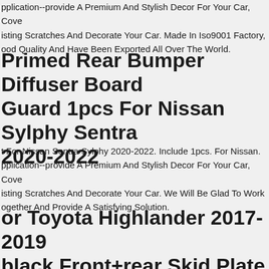pplication--provide A Premium And Stylish Decor For Your Car, Cove isting Scratches And Decorate Your Car. Made In Iso9001 Factory, ood Quality And Have Been Exported All Over The World.
Primed Rear Bumper Diffuser Board Guard 1pcs For Nissan Sylphy Sentra 2020-2022
t For Nissan Sentra Sylphy 2020-2022. Include 1pcs. For Nissan. pplication--provide A Premium And Stylish Decor For Your Car, Cove isting Scratches And Decorate Your Car. We Will Be Glad To Work ogether And Provide A Satisfying Solution.
or Toyota Highlander 2017-2019 black Front+rear Skid Plate Bumper board Guard